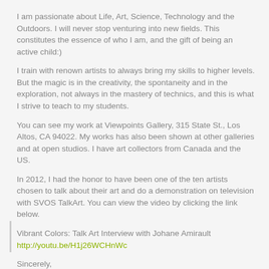I am passionate about Life, Art, Science, Technology and the Outdoors. I will never stop venturing into new fields. This constitutes the essence of who I am, and the gift of being an active child:)
I train with renown artists to always bring my skills to higher levels. But the magic is in the creativity, the spontaneity and in the exploration, not always in the mastery of technics, and this is what I strive to teach to my students.
You can see my work at Viewpoints Gallery, 315 State St., Los Altos, CA 94022. My works has also been shown at other galleries and at open studios. I have art collectors from Canada and the US.
In 2012, I had the honor to have been one of the ten artists chosen to talk about their art and do a demonstration on television with SVOS TalkArt. You can view the video by clicking the link below.
Vibrant Colors: Talk Art Interview with Johane Amirault
http://youtu.be/H1j26WCHnWc
Sincerely,
Johane Amirault, Contemporary Artist